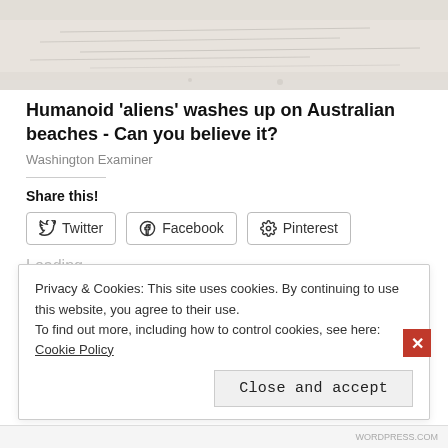[Figure (photo): Beach scene with pale sand and faint horizontal lines suggesting shoreline]
Humanoid 'aliens' washes up on Australian beaches - Can you believe it?
Washington Examiner
Share this!
Twitter  Facebook  Pinterest
Loading...
Privacy & Cookies: This site uses cookies. By continuing to use this website, you agree to their use.
To find out more, including how to control cookies, see here: Cookie Policy
Close and accept